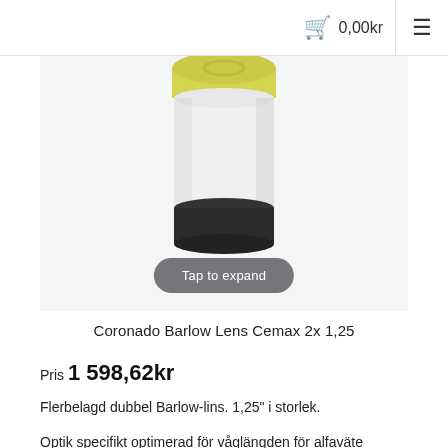0,00kr
[Figure (photo): Product photo of a Coronado Barlow Lens Cemax 2x 1.25 — cylindrical optical lens with gold/yellow top, white middle section, and black base, on a light gray background. A 'Tap to expand' button overlay is shown at the bottom of the image.]
Coronado Barlow Lens Cemax 2x 1,25
Pris 1 598,62kr
Flerbelagd dubbel Barlow-lins. 1,25" i storlek.
Optik specifikt optimerad för våglängden för alfaväte